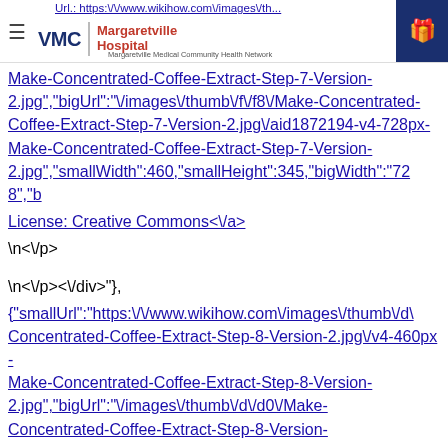VMC | Margaretville Hospital — Margaretville Medical Community Health Network
Url.: https:\/\/www.wikihow.com\/images\/th...
Make-Concentrated-Coffee-Extract-Step-7-Version-2.jpg","bigUrl":"\/images\/thumb\/f\/f8\/Make-Concentrated-Coffee-Extract-Step-7-Version-2.jpg\/aid1872194-v4-728px-Make-Concentrated-Coffee-Extract-Step-7-Version-2.jpg","smallWidth":460,"smallHeight":345,"bigWidth":"728","b
License: Creative Commons<\/a>
\n<\/p>
\n<\/p><\/div>"},{"smallUrl":"https:\/\/www.wikihow.com\/images\/thumb\/d\/Concentrated-Coffee-Extract-Step-8-Version-2.jpg\/v4-460px-Make-Concentrated-Coffee-Extract-Step-8-Version-2.jpg","bigUrl":"\/images\/thumb\/d\/d0\/Make-Concentrated-Coffee-Extract-Step-8-Version-2.jpg","bigUrl":"\/images\/thumb\/d\/d0\/Make-Concentrated-Coffee-Extract-Step-8-Version-